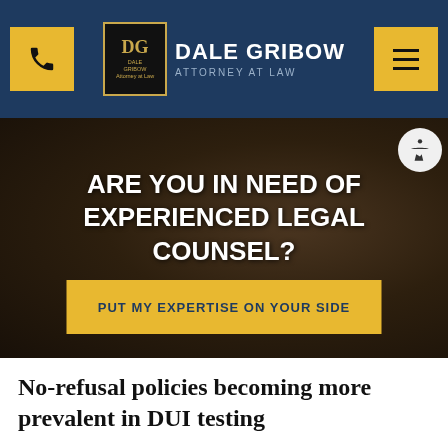Dale Gribow Attorney at Law
ARE YOU IN NEED OF EXPERIENCED LEGAL COUNSEL?
PUT MY EXPERTISE ON YOUR SIDE
No-refusal policies becoming more prevalent in DUI testing